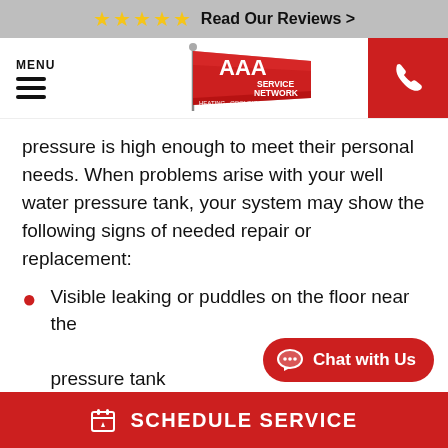★★★★★ Read Our Reviews >
[Figure (logo): AAA Service Network logo — red flag with AAA text, Heating · Cooling · Plumbing · Electric · Appliance Repair]
pressure is high enough to meet their personal needs. When problems arise with your well water pressure tank, your system may show the following signs of needed repair or replacement:
Visible leaking or puddles on the floor near the pressure tank
Noticeable rust on the unit's exterior
Abnormally low water pressure, especially for
SCHEDULE SERVICE